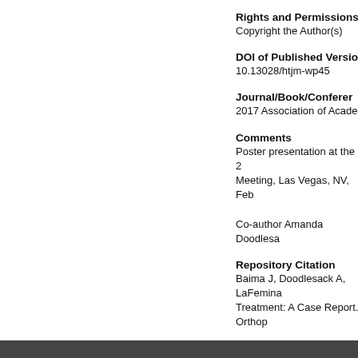Rights and Permissions
Copyright the Author(s)
DOI of Published Version
10.13028/htjm-wp45
Journal/Book/Conference
2017 Association of Academi...
Comments
Poster presentation at the 2... Meeting, Las Vegas, NV, Feb...

Co-author Amanda Doodlesa...
Repository Citation
Baima J, Doodlesack A, LaFemina... Treatment: A Case Report. Orthop...
https://doi.org/10.13028/htjm-wp...
https://escholarship.umassmed.e...